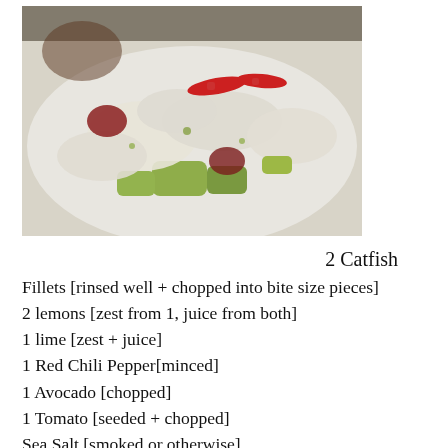[Figure (photo): A dish of catfish ceviche with white fish pieces, avocado chunks, red chili pepper slices, and tomato pieces on a white plate]
2 Catfish
Fillets [rinsed well + chopped into bite size pieces]
2 lemons [zest from 1, juice from both]
1 lime [zest + juice]
1 Red Chili Pepper[minced]
1 Avocado [chopped]
1 Tomato [seeded + chopped]
Sea Salt [smoked or otherwise]